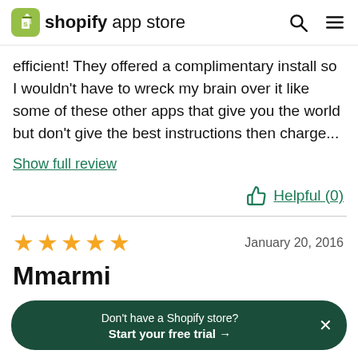shopify app store
efficient! They offered a complimentary install so I wouldn't have to wreck my brain over it like some of these other apps that give you the world but don't give the best instructions then charge...
Show full review
Helpful (0)
January 20, 2016
Mmarmi
Don't have a Shopify store? Start your free trial →